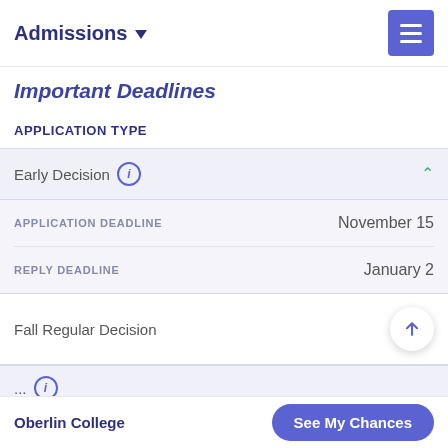Admissions
Important Deadlines
APPLICATION TYPE
| APPLICATION TYPE |  |
| --- | --- |
| Early Decision (i) | ^ |
| APPLICATION DEADLINE | November 15 |
| REPLY DEADLINE | January 2 |
| Fall Regular Decision | ↑ |
| ... |  |
Oberlin College
See My Chances